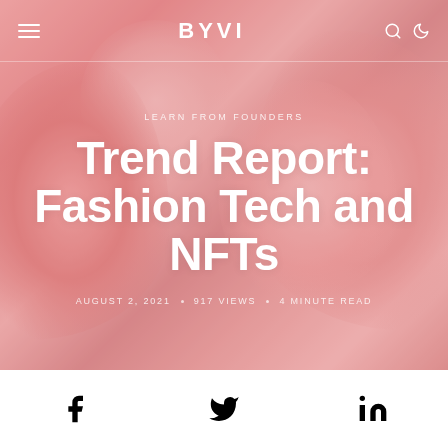BYVI
LEARN FROM FOUNDERS
Trend Report: Fashion Tech and NFTs
AUGUST 2, 2021 · 917 VIEWS · 4 MINUTE READ
[Figure (other): Social share icons: Facebook, Twitter, LinkedIn]